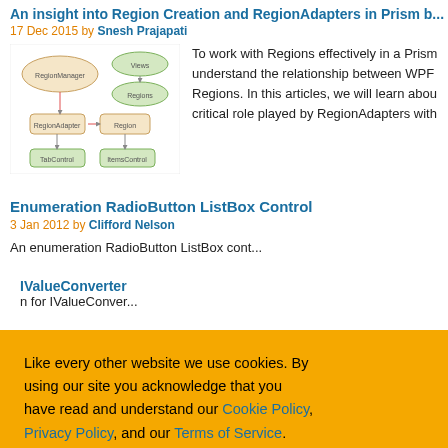An Insight into Region Creation and RegionAdapters in Prism b...
17 Dec 2015 by Snesh Prajapati
[Figure (illustration): Diagram showing region creation relationships with boxes and arrows]
To work with Regions effectively in a Prism understand the relationship between WPF Regions. In this articles, we will learn abou critical role played by RegionAdapters with
Enumeration RadioButton ListBox Control
3 Jan 2012 by Clifford Nelson
An enumeration RadioButton ListBox cont
IValueConverter
n for IValueConver
Like every other website we use cookies. By using our site you acknowledge that you have read and understand our Cookie Policy, Privacy Policy, and our Terms of Service. Learn more
Ask me later
Decline
Allow cookies